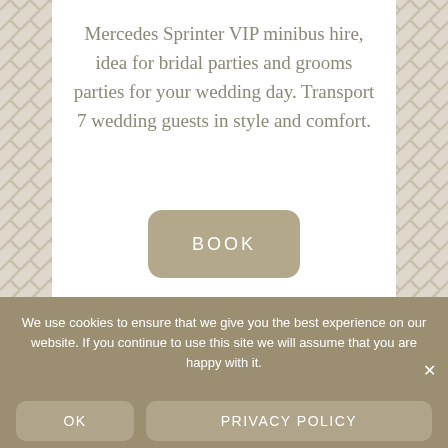[Figure (screenshot): Chevron/zigzag patterned background (tan/beige) with a white card overlay containing descriptive text and a BOOK button]
Mercedes Sprinter VIP minibus hire, idea for bridal parties and grooms parties for your wedding day. Transport 7 wedding guests in style and comfort.
BOOK
We use cookies to ensure that we give you the best experience on our website. If you continue to use this site we will assume that you are happy with it.
OK
PRIVACY POLICY